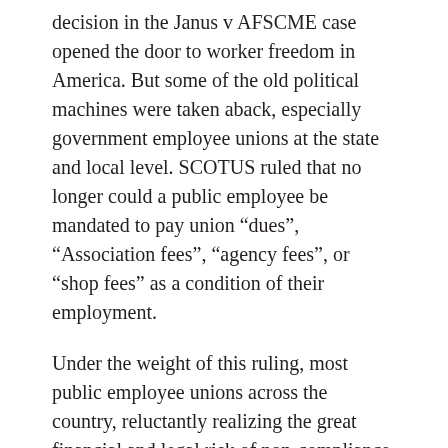decision in the Janus v AFSCME case opened the door to worker freedom in America. But some of the old political machines were taken aback, especially government employee unions at the state and local level. SCOTUS ruled that no longer could a public employee be mandated to pay union “dues”, “Association fees”, “agency fees”, or “shop fees” as a condition of their employment.
Under the weight of this ruling, most public employee unions across the country, reluctantly realizing the great financial and legal risk of non-compliance, immediately amended their policies and subsequent contract agreements to comply with the new law … such that any dues payments could only be collected once the employee affirm...